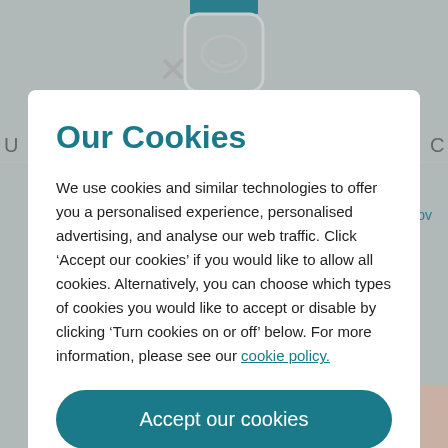[Figure (screenshot): Blurred website background with navigation bar, teal text elements partially visible, and a product/person image at the bottom center]
Our Cookies
We use cookies and similar technologies to offer you a personalised experience, personalised advertising, and analyse our web traffic. Click ‘Accept our cookies’ if you would like to allow all cookies. Alternatively, you can choose which types of cookies you would like to accept or disable by clicking ‘Turn cookies on or off’ below. For more information, please see our cookie policy.
Accept our cookies